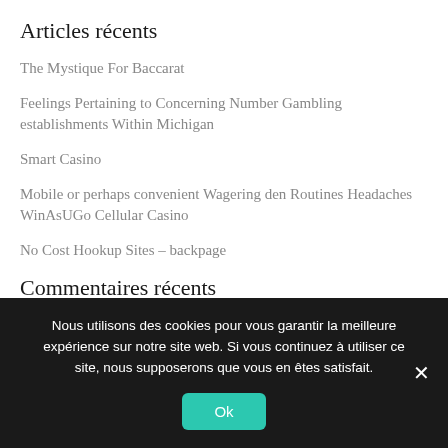Articles récents
The Mystique For Baccarat
Feelings Pertaining to Concerning Number Gambling establishments Within Michigan
Smart Casino
Mobile or perhaps convenient Wagering den Routines Headaches WinAsUGo Cellular Casino
No Cost Hookup Sites – backpage
Commentaires récents
Nous utilisons des cookies pour vous garantir la meilleure expérience sur notre site web. Si vous continuez à utiliser ce site, nous supposerons que vous en êtes satisfait.